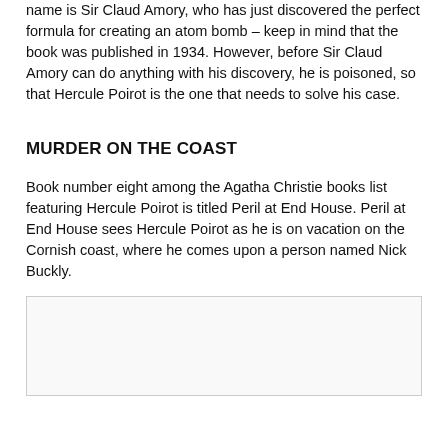name is Sir Claud Amory, who has just discovered the perfect formula for creating an atom bomb – keep in mind that the book was published in 1934. However, before Sir Claud Amory can do anything with his discovery, he is poisoned, so that Hercule Poirot is the one that needs to solve his case.
MURDER ON THE COAST
Book number eight among the Agatha Christie books list featuring Hercule Poirot is titled Peril at End House. Peril at End House sees Hercule Poirot as he is on vacation on the Cornish coast, where he comes upon a person named Nick Buckly.
[Figure (other): Image placeholder area below the text block]